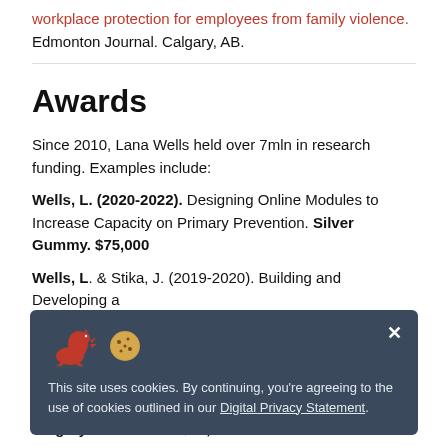workplace protection for employees from family violence. Edmonton Journal. Calgary, AB.
Awards
Since 2010, Lana Wells held over 7mln in research funding. Examples include:
Wells, L. (2020-2022). Designing Online Modules to Increase Capacity on Primary Prevention. Silver Gummy. $75,000
Wells, L. & Stika, J. (2019-2020). Building and Developing a
[Figure (screenshot): Cookie consent banner with dinosaur and cookie icons. Text: 'This site uses cookies. By continuing, you're agreeing to the use of cookies outlined in our Digital Privacy Statement.' with a close (×) button.]
Calgary Foundation. $75,000